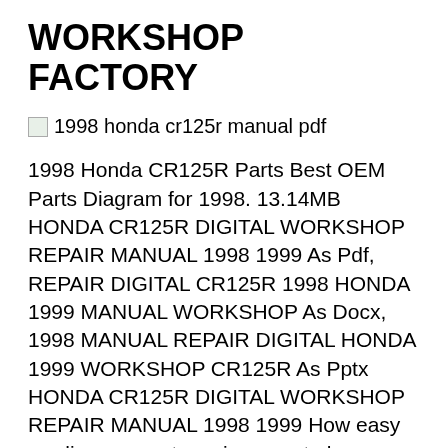WORKSHOP FACTORY
[Figure (other): Broken image placeholder with alt text: 1998 honda cr125r manual pdf]
1998 Honda CR125R Parts Best OEM Parts Diagram for 1998. 13.14MB HONDA CR125R DIGITAL WORKSHOP REPAIR MANUAL 1998 1999 As Pdf, REPAIR DIGITAL CR125R 1998 HONDA 1999 MANUAL WORKSHOP As Docx, 1998 MANUAL REPAIR DIGITAL HONDA 1999 WORKSHOP CR125R As Pptx HONDA CR125R DIGITAL WORKSHOP REPAIR MANUAL 1998 1999 How easy reading concept can improve to be an effective person? HONDA CR125R DIGITAL вЂ¦ Plug Motorcycle Honda CR125R 2006 Owners Manual 03